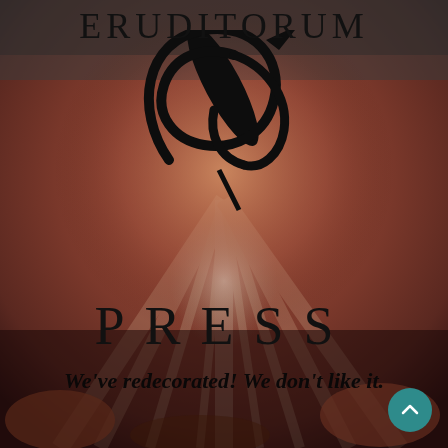[Figure (logo): Eruditorum Press logo: decorative 'ep' monogram with quill/pen motif in black, over a painterly background of ballet dancers in warm orange-red tones]
ERUDITORUM
PRESS
We've redecorated! We don't like it.